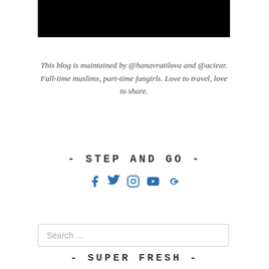[Figure (photo): Black rectangular banner image at the top of the blog sidebar]
This blog is maintained by @hanavratilova and @aciear. Full-time muslims, part-time fangirls. Love to travel, love to share.
- STEP AND GO -
[Figure (other): Social media icons: Facebook, Twitter, Instagram, YouTube, Google+]
Search ...
- SUPER FRESH -